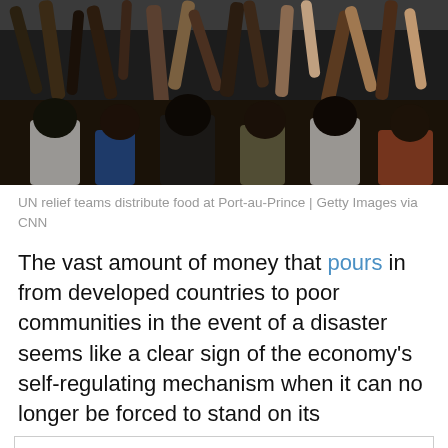[Figure (photo): Crowd of people reaching up with arms raised, seen from below — UN relief food distribution scene at Port-au-Prince]
UN relief teams distribute food at Port-au-Prince | Getty Images via CNN
The vast amount of money that pours in from developed countries to poor communities in the event of a disaster seems like a clear sign of the economy's self-regulating mechanism when it can no longer be forced to stand on its
Privacy & Cookies: This site uses cookies. By continuing to use this website, you agree to their use.
To find out more, including how to control cookies, see here: Cookie Policy
and inability to respond